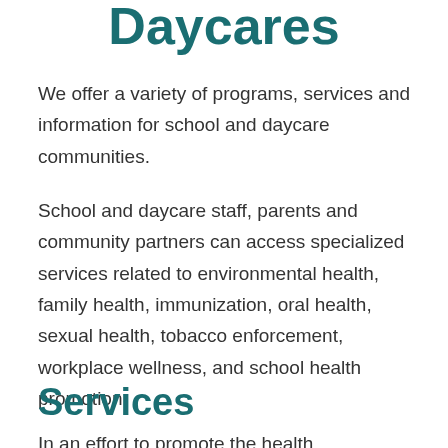Daycares
We offer a variety of programs, services and information for school and daycare communities.
School and daycare staff, parents and community partners can access specialized services related to environmental health, family health, immunization, oral health, sexual health, tobacco enforcement, workplace wellness, and school health promotion.
Services
In an effort to promote the health